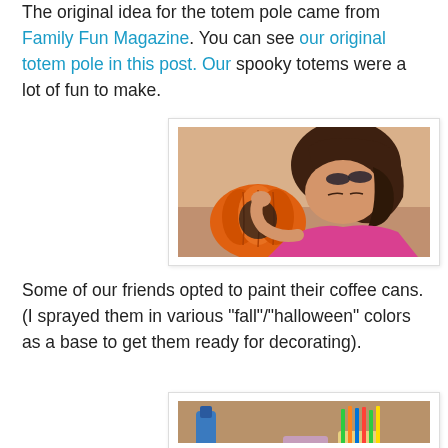The original idea for the totem pole came from Family Fun Magazine. You can see our original totem pole in this post. Our spooky totems were a lot of fun to make.
[Figure (photo): A young girl with long brown hair wearing a pink top, looking down at an orange pumpkin-shaped container decorated with a black spider.]
Some of our friends opted to paint their coffee cans. (I sprayed them in various "fall"/"halloween" colors as a base to get them ready for decorating).
[Figure (photo): A table with various craft supplies including a blue glue bottle, small orange pumpkins, and colorful pencils or markers in cups, ready for decorating.]